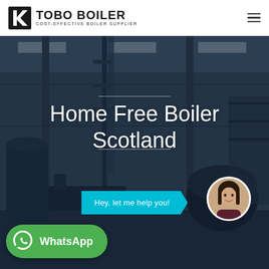[Figure (logo): Tobo Boiler logo with angular K-shaped icon and text 'TOBO BOILER / COST-EFFECTIVE BOILER SUPPLIER']
Home Free Boiler Scotland
[Figure (illustration): Industrial boiler factory interior background image, dark overlay with chat button 'Hey, let me help you!' and female avatar with cyan dot indicator]
[Figure (infographic): Green WhatsApp button with WhatsApp icon at bottom left]